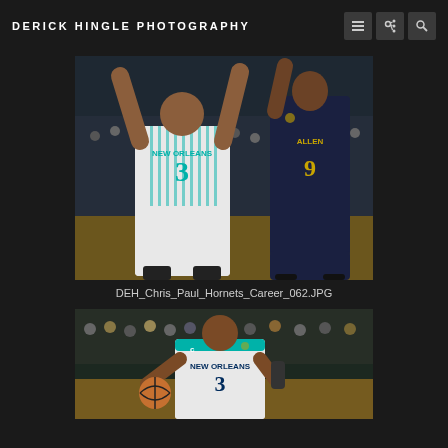DERICK HINGLE PHOTOGRAPHY
[Figure (photo): NBA basketball game photo: New Orleans Hornets player #3 in white uniform with arms raised, contested by opponent #9 Allen in dark uniform, arena crowd in background]
DEH_Chris_Paul_Hornets_Career_062.JPG
[Figure (photo): New Orleans Hornets player #3 with captain C patch, dribbling basketball in teal/white uniform, crowd in background]